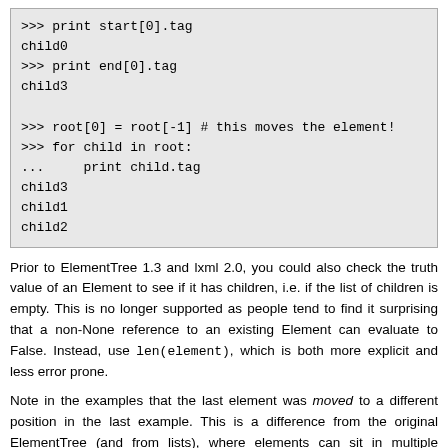>>> print start[0].tag
child0
>>> print end[0].tag
child3

>>> root[0] = root[-1] # this moves the element!
>>> for child in root:
...     print child.tag
child3
child1
child2
Prior to ElementTree 1.3 and lxml 2.0, you could also check the truth value of an Element to see if it has children, i.e. if the list of children is empty. This is no longer supported as people tend to find it surprising that a non-None reference to an existing Element can evaluate to False. Instead, use len(element), which is both more explicit and less error prone.
Note in the examples that the last element was moved to a different position in the last example. This is a difference from the original ElementTree (and from lists), where elements can sit in multiple positions of any number of trees. In lxml.etree, elements can only sit in one position of one tree at a time.